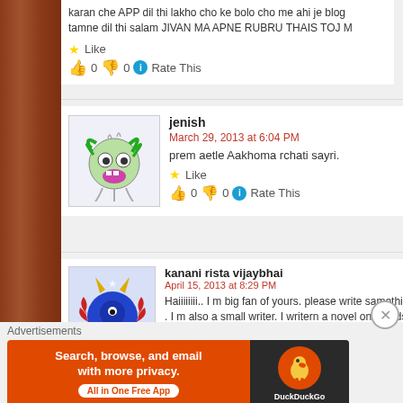karan che APP dil thi lakho cho ke bolo cho me ahi je blog tamne dil thi salam JIVAN MA APNE RUBRU THAIS TOJ
Like
👍 0 👎 0 Rate This
jenish
March 29, 2013 at 6:04 PM
prem aetle Aakhoma rchati sayri.
Like
👍 0 👎 0 Rate This
kanani rista vijaybhai
April 15, 2013 at 8:29 PM
Haiiiiiiii.. I m big fan of yours. please write samething abou. . I m also a small writer. I writern a novel on friendship nan
Advertisements
Search, browse, and email with more privacy. All in One Free App